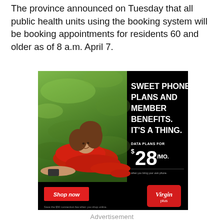The province announced on Tuesday that all public health units using the booking system will be booking appointments for residents 60 and older as of 8 a.m. April 7.
[Figure (illustration): Virgin Plus advertisement showing a woman lying on grass holding a phone, with text 'Sweet Phone Plans And Member Benefits. It's A Thing.' and 'Data Plans For $28/Mo.' with a Shop Now button.]
Advertisement